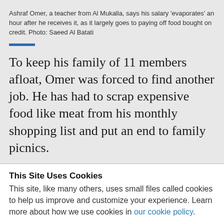Ashraf Omer, a teacher from Al Mukalla, says his salary 'evaporates' an hour after he receives it, as it largely goes to paying off food bought on credit. Photo: Saeed Al Batati
To keep his family of 11 members afloat, Omer was forced to find another job. He has had to scrap expensive food like meat from his monthly shopping list and put an end to family picnics.
This Site Uses Cookies
This site, like many others, uses small files called cookies to help us improve and customize your experience. Learn more about how we use cookies in our cookie policy.
Learn more about cookies   OK